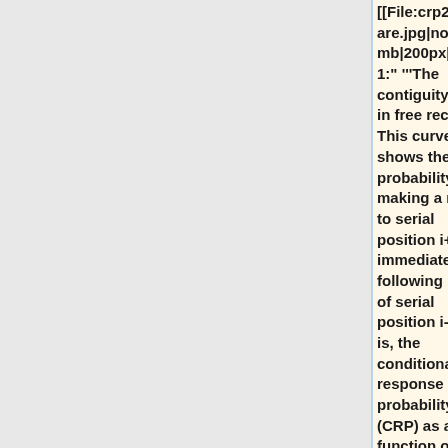[[File:crp2a_square.jpg|none|thumb|200px|"Fig. 1:" '''The contiguity effect in free recall.''' This curve shows the probability of making a recall to serial position i+lag immediately following recall of serial position i---that is, the conditional-response probability (CRP) as a function of lag.]]
[[File:cmr_neuro.png|none|thumb|400px|"Fig. 1:" '''The context-maintenance and retrieval model.''' A. Schematic of CMR. When an item is studied its feature representation (fi) is activated on F. The feature representation contains both item and source features (e.g., size / animacy judgment). An associative weight matrix (MFC) allows each item to